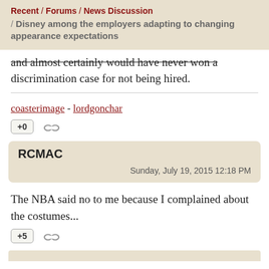Recent / Forums / News Discussion / Disney among the employers adapting to changing appearance expectations
and almost certainly would have never won a discrimination case for not being hired.
coasterimage - lordgonchar
+0
RCMAC
Sunday, July 19, 2015 12:18 PM
The NBA said no to me because I complained about the costumes...
+5